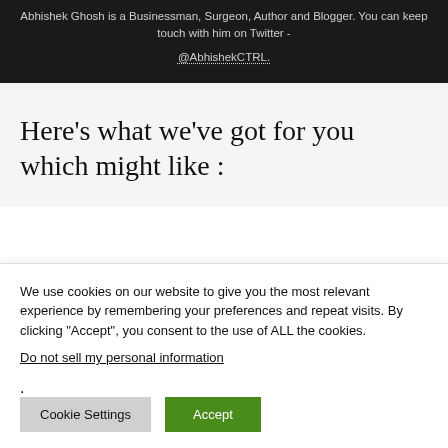Abhishek Ghosh is a Businessman, Surgeon, Author and Blogger. You can keep touch with him on Twitter - @AbhishekCTRL.
Here’s what we’ve got for you which might like :
We use cookies on our website to give you the most relevant experience by remembering your preferences and repeat visits. By clicking “Accept”, you consent to the use of ALL the cookies.
Do not sell my personal information.